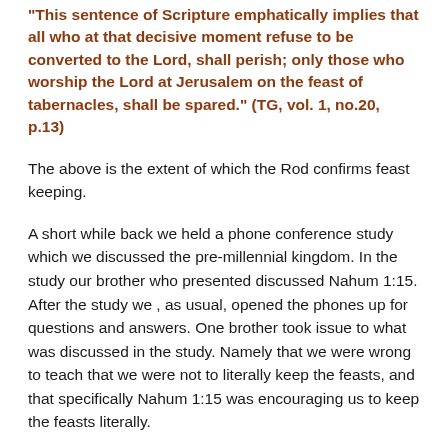"This sentence of Scripture emphatically implies that all who at that decisive moment refuse to be converted to the Lord, shall perish; only those who worship the Lord at Jerusalem on the feast of tabernacles, shall be spared." (TG, vol. 1, no.20, p.13)
The above is the extent of which the Rod confirms feast keeping.
A short while back we held a phone conference study which we discussed the pre-millennial kingdom. In the study our brother who presented discussed Nahum 1:15. After the study we , as usual, opened the phones up for questions and answers. One brother took issue to what was discussed in the study. Namely that we were wrong to teach that we were not to literally keep the feasts, and that specifically Nahum 1:15 was encouraging us to keep the feasts literally.